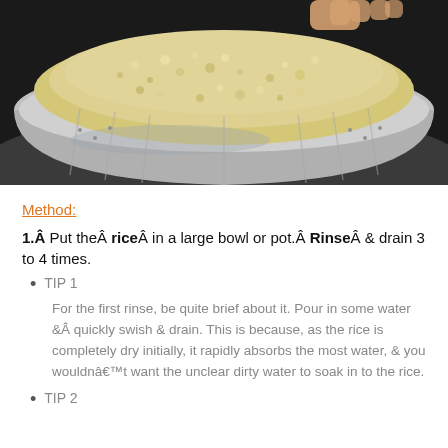[Figure (photo): Photo of rice being rinsed in a metal colander/strainer over a sink]
Method:
1.Â Put theÂ rice in a large bowl or pot.Â Rinse & drain 3 to 4 times.
TIP 1
For the first rinse, be quite brief about it. Pour in some water &Â quickly swish & drain. This is because, as the rice is completely dry initially, it rapidly absorbs the most water, & you wouldnâ€™t want the unclear dirty water to soak in to the rice.
TIP 2